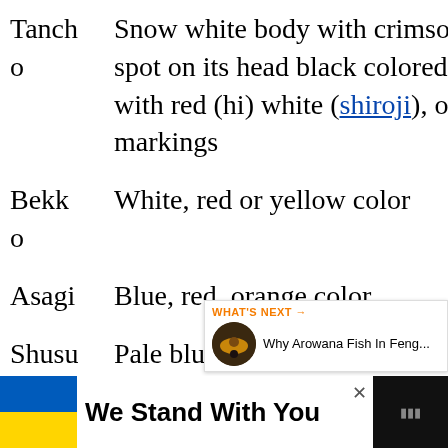| Name | Description |
| --- | --- |
| Tancho | Snow white body with crimson red colored spot on its head black colored body (karasu) with red (hi) white (shiroji), or yellow (ki) markings |
| Bekko | White, red or yellow color |
| Asagi | Blue, red, orange color |
| Shusui | Pale blue or white and red |
| Koromo | White and red |
| Goshi ki | White colored body, blue black |
[Figure (screenshot): UI overlay with heart button (blue circle), count '1', and share button]
[Figure (screenshot): What's Next panel showing 'Why Arowana Fish In Feng...' with circular thumbnail]
[Figure (screenshot): Bottom ad banner with Ukraine flag colors and text 'We Stand With You', close button, and right side dark panel]